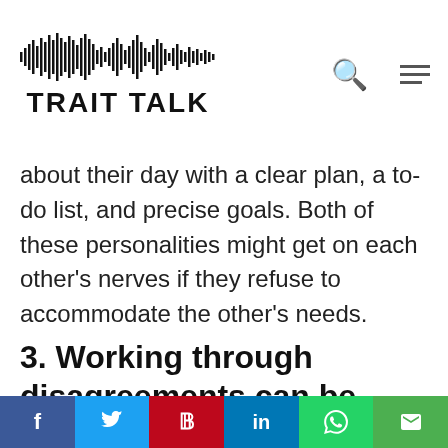TRAIT TALK
about their day with a clear plan, a to-do list, and precise goals. Both of these personalities might get on each other's nerves if they refuse to accommodate the other's needs.
3. Working through disagreements can be extremely difficult
f  t  p  in  [whatsapp]  [email]